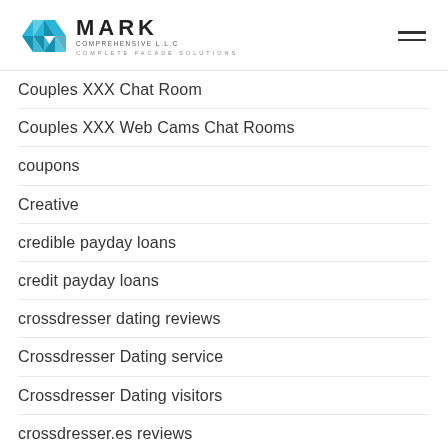MARK COMPREHENSIVE L.L.C — COMPLETE FACADE SOLUTIONS
Couples XXX Chat Room
Couples XXX Web Cams Chat Rooms
coupons
Creative
credible payday loans
credit payday loans
crossdresser dating reviews
Crossdresser Dating service
Crossdresser Dating visitors
crossdresser.es reviews